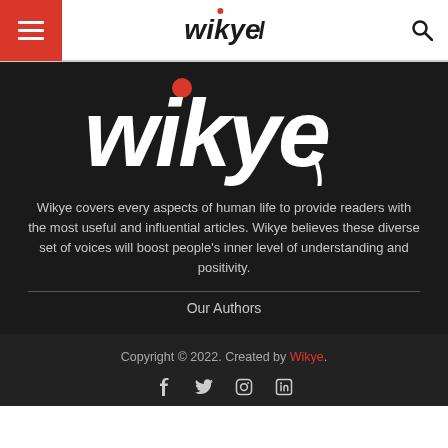wikye — navigation header with menu and search
[Figure (logo): Large wikye logo in white with red dot over 'i' on dark background]
Wikye covers every aspects of human life to provide readers with the most useful and influential articles. Wikye believes these diverse set of voices will boost people's inner level of understanding and positivity.
Our Authors
Copyright © 2022. Created by Wikye.